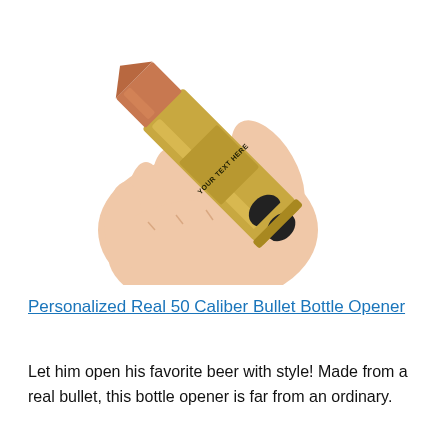[Figure (photo): A hand holding a gold bullet-shaped bottle opener engraved with 'YOUR TEXT HERE'. The bullet has a copper-colored tip and a bottle opener cutout at the base.]
Personalized Real 50 Caliber Bullet Bottle Opener
Let him open his favorite beer with style! Made from a real bullet, this bottle opener is far from an ordinary.